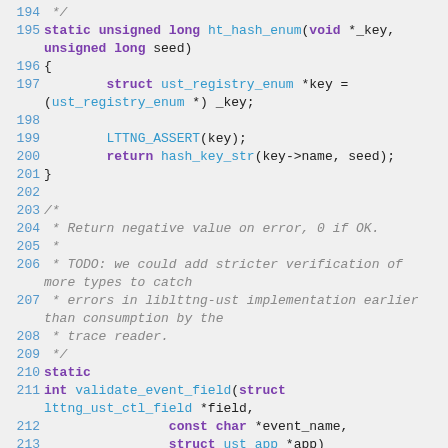[Figure (screenshot): Source code listing (C) showing lines 194-213 of a file, with syntax highlighting. Lines include a hash function for enum registry, assert and return statements, and the beginning of a validate_event_field function with a block comment above it.]